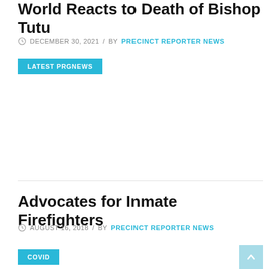World Reacts to Death of Bishop Tutu
DECEMBER 30, 2021 / BY PRECINCT REPORTER NEWS
LATEST PRGNEWS
Advocates for Inmate Firefighters
AUGUST 16, 2018 / BY PRECINCT REPORTER NEWS
COVID